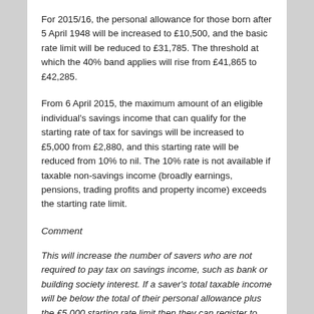For 2015/16, the personal allowance for those born after 5 April 1948 will be increased to £10,500, and the basic rate limit will be reduced to £31,785. The threshold at which the 40% band applies will rise from £41,865 to £42,285.
From 6 April 2015, the maximum amount of an eligible individual's savings income that can qualify for the starting rate of tax for savings will be increased to £5,000 from £2,880, and this starting rate will be reduced from 10% to nil. The 10% rate is not available if taxable non-savings income (broadly earnings, pensions, trading profits and property income) exceeds the starting rate limit.
Comment
This will increase the number of savers who are not required to pay tax on savings income, such as bank or building society interest. If a saver's total taxable income will be below the total of their personal allowance plus the £5,000 starting rate limit then they can register to receive their interest gross using a form R85.